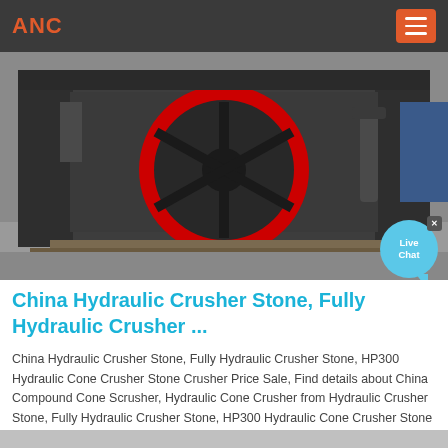ANC
[Figure (photo): Industrial jaw crusher machine photographed from the front, showing a large red circular flywheel/pulley against a dark metal body, sitting on a concrete surface in what appears to be a manufacturing facility.]
China Hydraulic Crusher Stone, Fully Hydraulic Crusher ...
China Hydraulic Crusher Stone, Fully Hydraulic Crusher Stone, HP300 Hydraulic Cone Crusher Stone Crusher Price Sale, Find details about China Compound Cone Scrusher, Hydraulic Cone Crusher from Hydraulic Crusher Stone, Fully Hydraulic Crusher Stone, HP300 Hydraulic Cone Crusher Stone Crusher Price Sale - Jiangsu Baoshan Heavy Machinery Manufacturing Co., Ltd.